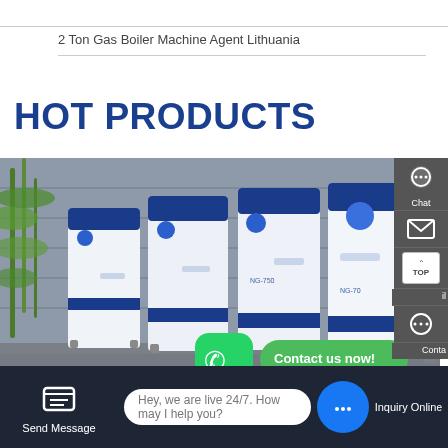2 Ton Gas Boiler Machine Agent Lithuania
HOT PRODUCTS
[Figure (photo): Four industrial gas boiler machines in blue and white casing, displayed in a showroom with bamboo plants and a stone wall background. A WhatsApp contact button and 'Contact us now!' bubble overlay the image.]
Contact us now!
Hey, we are live 24/7. How may I help you?
Send Message   Inquiry Online